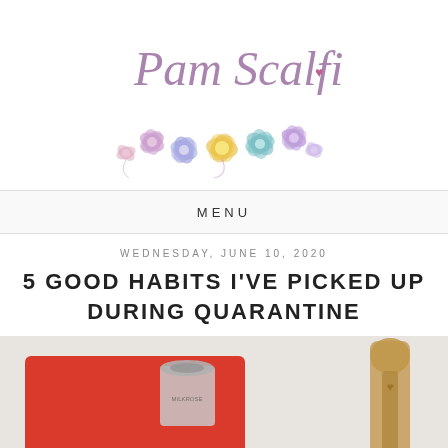[Figure (logo): Pam Scalfi blog logo with cursive script text and watercolor flowers]
MENU
WEDNESDAY, JUNE 10, 2020
5 GOOD HABITS I'VE PICKED UP DURING QUARANTINE
[Figure (photo): Photo of kitchen items including a red cutting board, a small jar, and a wooden utensil on a light surface]